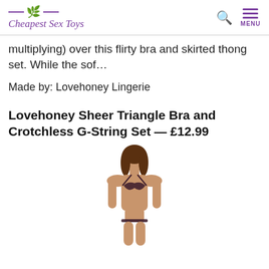Cheapest Sex Toys
multiplying) over this flirty bra and skirted thong set. While the sof…
Made by: Lovehoney Lingerie
Lovehoney Sheer Triangle Bra and Crotchless G-String Set — £12.99
[Figure (photo): Model wearing a sheer dark triangle bra and g-string lingerie set]